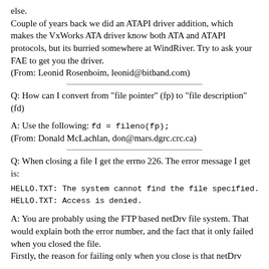else.
Couple of years back we did an ATAPI driver addition, which makes the VxWorks ATA driver know both ATA and ATAPI protocols, but its burried somewhere at WindRiver. Try to ask your FAE to get you the driver.
(From: Leonid Rosenboim, leonid@bitband.com)
Q: How can I convert from "file pointer" (fp) to "file description" (fd)
A: Use the following: fd = fileno(fp);
(From: Donald McLachlan, don@mars.dgrc.crc.ca)
Q: When closing a file I get the errno 226. The error message I get is:
HELLO.TXT: The system cannot find the file specified.
HELLO.TXT: Access is denied.
A: You are probably using the FTP based netDrv file system. That would explain both the error number, and the fact that it only failed when you closed the file.
Firstly, the reason for failing only when you close is that netDrv